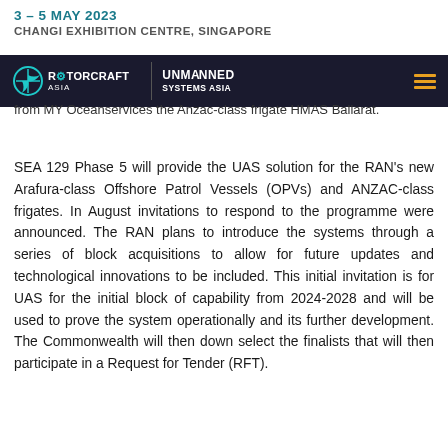3 – 5 MAY 2023
CHANGI EXHIBITION CENTRE, SINGAPORE
[Figure (logo): Rotorcraft Asia | Unmanned Systems Asia logo bar with dark navy background, teal rotorcraft icon, white text logos, and orange hamburger menu icon]
from MY Oceanservices the Anzac-class frigate HMAS Ballarat.
SEA 129 Phase 5 will provide the UAS solution for the RAN's new Arafura-class Offshore Patrol Vessels (OPVs) and ANZAC-class frigates. In August invitations to respond to the programme were announced. The RAN plans to introduce the systems through a series of block acquisitions to allow for future updates and technological innovations to be included. This initial invitation is for UAS for the initial block of capability from 2024-2028 and will be used to prove the system operationally and its further development. The Commonwealth will then down select the finalists that will then participate in a Request for Tender (RFT).